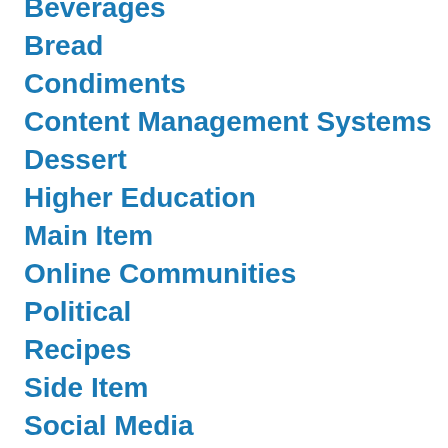Beverages
Bread
Condiments
Content Management Systems
Dessert
Higher Education
Main Item
Online Communities
Political
Recipes
Side Item
Social Media